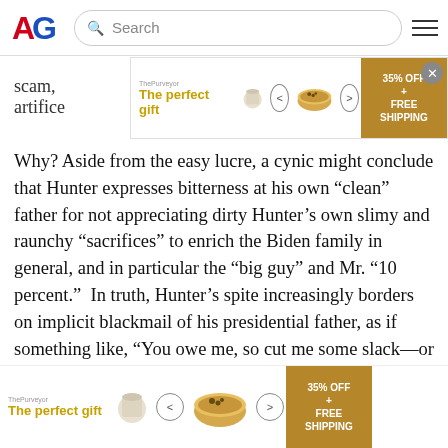AG [logo] Search [search bar] [hamburger menu]
[Figure (screenshot): Advertisement banner: 'The perfect gift' with bowl/cup imagery and '35% OFF + FREE SHIPPING' offer, with close button.]
scam, artifice
Why? Aside from the easy lucre, a cynic might conclude that Hunter expresses bitterness at his own “clean” father for not appreciating dirty Hunter’s own slimy and raunchy “sacrifices” to enrich the Biden family in general, and in particular the “big guy” and Mr. “10 percent.”  In truth, Hunter’s spite increasingly borders on implicit blackmail of his presidential father, as if something like, “You owe me, so cut me some slack—or perhaps if I go down, so does the family.”
In sum, Hunter is kryptonite to the White House and not
[Figure (screenshot): Advertisement banner at bottom: 'The perfect gift' with bowl/cup imagery and '35% OFF + FREE SHIPPING' offer.]